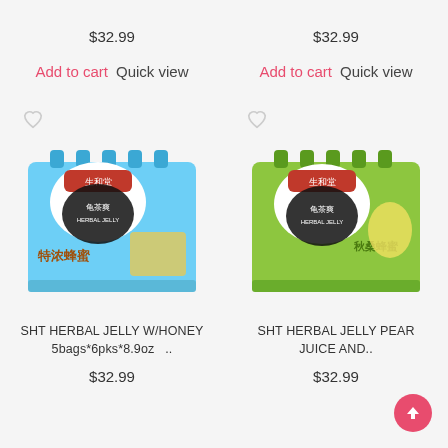$32.99
$32.99
Add to cart  Quick view
Add to cart  Quick view
[Figure (photo): SHT Herbal Jelly with Honey product - blue packaging with Chinese text, multiple pouches]
[Figure (photo): SHT Herbal Jelly Pear Juice product - green packaging with Chinese text, multiple pouches]
SHT HERBAL JELLY W/HONEY 5bags*6pks*8.9oz  ..
SHT HERBAL JELLY PEAR JUICE AND..
$32.99
$32.99